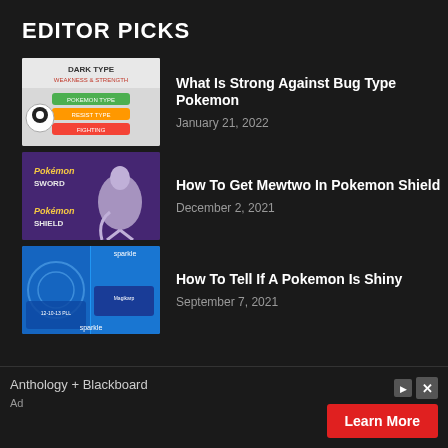EDITOR PICKS
[Figure (screenshot): Thumbnail showing Dark Type Pokemon weakness and strength chart with Meowth-like character]
What Is Strong Against Bug Type Pokemon
January 21, 2022
[Figure (screenshot): Thumbnail showing Mewtwo in Pokemon Sword and Shield game logos]
How To Get Mewtwo In Pokemon Shield
December 2, 2021
[Figure (screenshot): Pokemon Go screenshot showing sparkle shiny comparison between two Pokemon]
How To Tell If A Pokemon Is Shiny
September 7, 2021
Anthology + Blackboard
Ad
Learn More